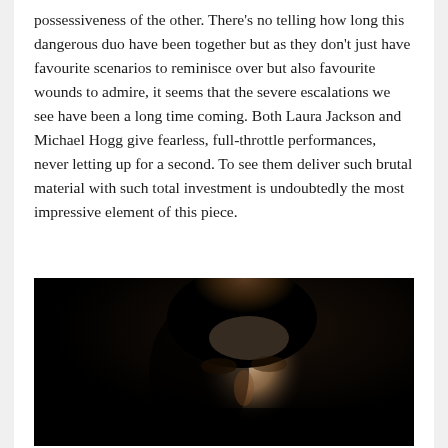possessiveness of the other. There's no telling how long this dangerous duo have been together but as they don't just have favourite scenarios to reminisce over but also favourite wounds to admire, it seems that the severe escalations we see have been a long time coming. Both Laura Jackson and Michael Hogg give fearless, full-throttle performances, never letting up for a second. To see them deliver such brutal material with such total investment is undoubtedly the most impressive element of this piece.
[Figure (photo): A dark, dramatic portrait photograph of a man (Michael Hogg) with short brown hair, lit from above against a nearly black background. Only the upper portion of his face is visible.]